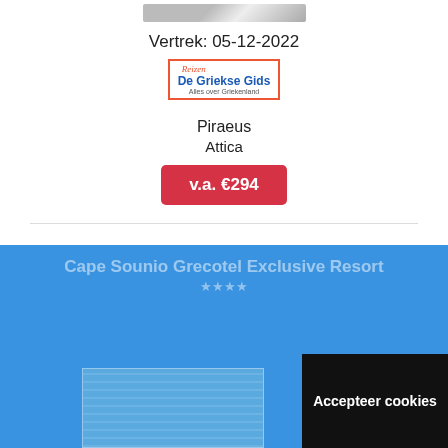[Figure (photo): Partial image at top of page, partially cut off]
Vertrek: 05-12-2022
[Figure (logo): De Griekse Gids Reizen logo in red border box]
Piraeus
Attica
v.a. €294
Cape Sounio Grecotel Exclusive Resort
★★★★
De Griekse Gids maakt gebruik van cookies. Wil je weten waarom?
Klik hier voor meer informatie.
[Figure (photo): Hotel building photo, partially visible]
Accepteer cookies